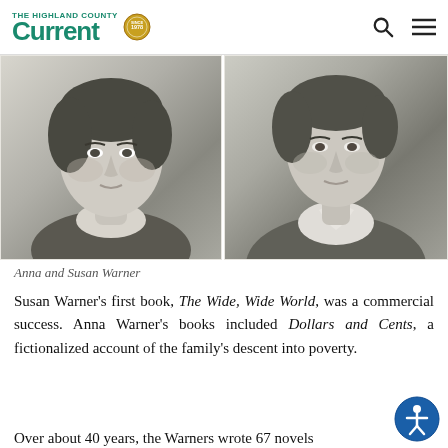The Current
[Figure (photo): Two side-by-side black and white portrait photographs of Anna and Susan Warner]
Anna and Susan Warner
Susan Warner's first book, The Wide, Wide World, was a commercial success. Anna Warner's books included Dollars and Cents, a fictionalized account of the family's descent into poverty.
Over about 40 years, the Warners wrote 67 novels